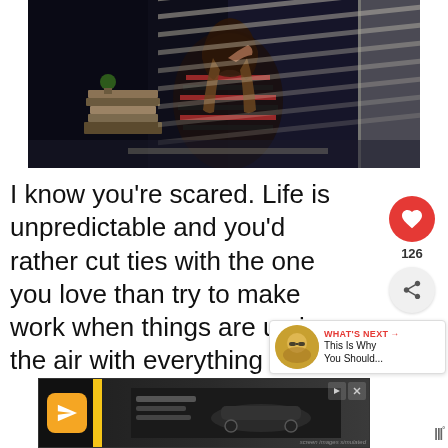[Figure (photo): Dark moody photograph of a woman sitting near a window with blinds casting striped shadows across her. Books stacked to her left, dark atmospheric lighting.]
I know you’re scared. Life is unpredictable and you’d rather cut ties with the one you love than try to make work when things are up in the air with everything else.
[Figure (screenshot): Social media like button (red heart circle) with count 126 and a share button below it. WHAT'S NEXT widget showing a thumbnail and text 'This Is Why You Should...']
[Figure (screenshot): Advertisement banner at bottom showing a dark background with yellow accent bar, an orange icon with paper plane symbol, simulated car/product image area with 'screen images simulated' text, and play/close controls.]